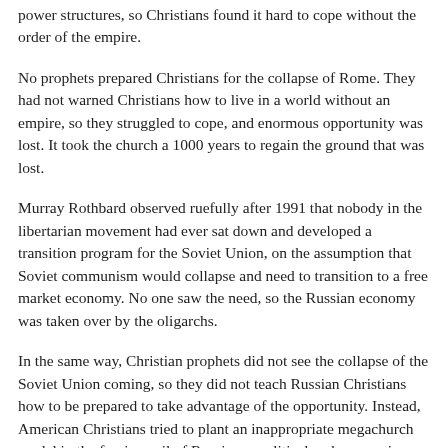power structures, so Christians found it hard to cope without the order of the empire.
No prophets prepared Christians for the collapse of Rome. They had not warned Christians how to live in a world without an empire, so they struggled to cope, and enormous opportunity was lost. It took the church a 1000 years to regain the ground that was lost.
Murray Rothbard observed ruefully after 1991 that nobody in the libertarian movement had ever sat down and developed a transition program for the Soviet Union, on the assumption that Soviet communism would collapse and need to transition to a free market economy. No one saw the need, so the Russian economy was taken over by the oligarchs.
In the same way, Christian prophets did not see the collapse of the Soviet Union coming, so they did not teach Russian Christians how to be prepared to take advantage of the opportunity. Instead, American Christians tried to plant an inappropriate megachurch model in the foreign soil of Russia, so political and economic powers remained strong and the church remains weak and irrelevant.